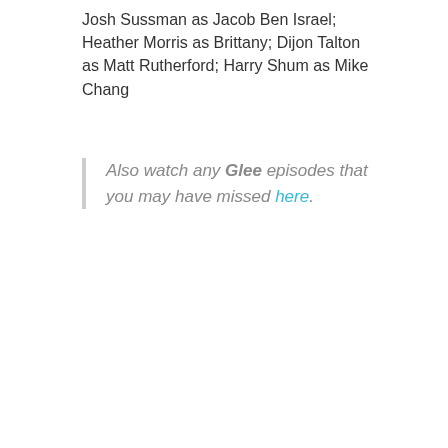Josh Sussman as Jacob Ben Israel; Heather Morris as Brittany; Dijon Talton as Matt Rutherford; Harry Shum as Mike Chang
Also watch any Glee episodes that you may have missed here.